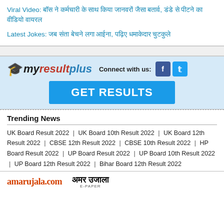Viral Video: बॉस ने कर्मचारी के साथ किया जानवरों जैसा बतार्व, डंडे से पीटने का वीडियो वायरल
Latest Jokes: जब संता बेचने लगा आईना, पढ़िए धमाकेदार चुटकुले
[Figure (logo): myresultplus logo with graduation cap, Connect with us text, Facebook and Twitter icons, and GET RESULTS button]
Trending News
UK Board Result 2022 | UK Board 10th Result 2022 | UK Board 12th Result 2022 | CBSE 12th Result 2022 | CBSE 10th Result 2022 | HP Board Result 2022 | UP Board Result 2022 | UP Board 10th Result 2022 | UP Board 12th Result 2022 | Bihar Board 12th Result 2022
amarujala.com  अमर उजाला E-PAPER